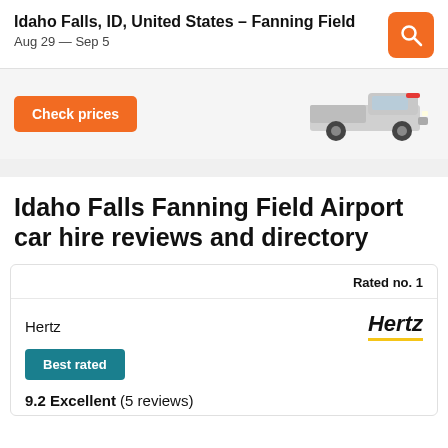Idaho Falls, ID, United States – Fanning Field
Aug 29 — Sep 5
[Figure (other): Check prices button and car image (Toyota Tacoma pickup truck)]
Idaho Falls Fanning Field Airport car hire reviews and directory
Rated no. 1
Hertz
[Figure (logo): Hertz logo in bold italic with yellow underline]
Best rated
9.2 Excellent (5 reviews)